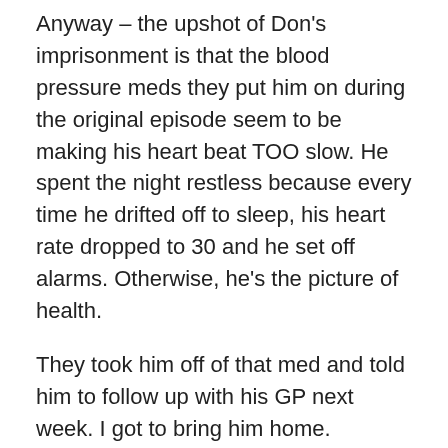Anyway – the upshot of Don's imprisonment is that the blood pressure meds they put him on during the original episode seem to be making his heart beat TOO slow. He spent the night restless because every time he drifted off to sleep, his heart rate dropped to 30 and he set off alarms. Otherwise, he's the picture of health.
They took him off of that med and told him to follow up with his GP next week. I got to bring him home.
My issues? Well, we'll find out Monday if they could find anything.
One last thing: Don *is* still talking to me even though he thinks the whole night-in-the-hospital was a waste of time (his) and resources (ours and the insurance company's). I told him the moral of the story is simple: "Don't faint in